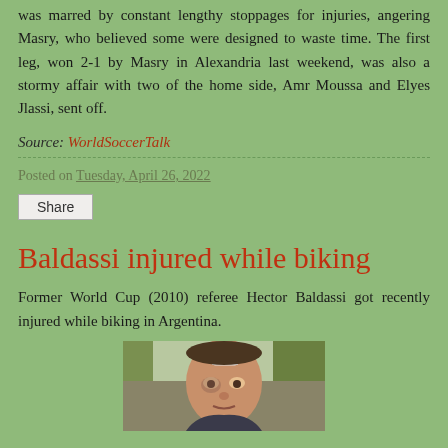was marred by constant lengthy stoppages for injuries, angering Masry, who believed some were designed to waste time. The first leg, won 2-1 by Masry in Alexandria last weekend, was also a stormy affair with two of the home side, Amr Moussa and Elyes Jlassi, sent off.
Source: WorldSoccerTalk
Posted on Tuesday, April 26, 2022
Share
Baldassi injured while biking
Former World Cup (2010) referee Hector Baldassi got recently injured while biking in Argentina.
[Figure (photo): Photo of Hector Baldassi with a bandage on his forehead, sitting in a car, visibly injured]